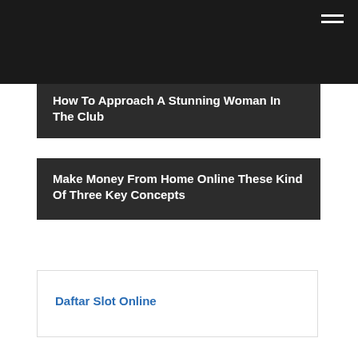How To Approach A Stunning Woman In The Club
Make Money From Home Online These Kind Of Three Key Concepts
Daftar Slot Online
https://montanabrewingcompany.com/slot-gacor.php